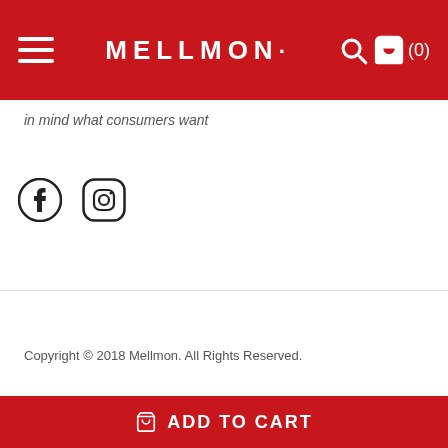MELLMON· (0)
in mind what consumers want
[Figure (logo): Facebook and Instagram social media icons]
Copyright © 2018 Mellmon. All Rights Reserved.
ADD TO CART